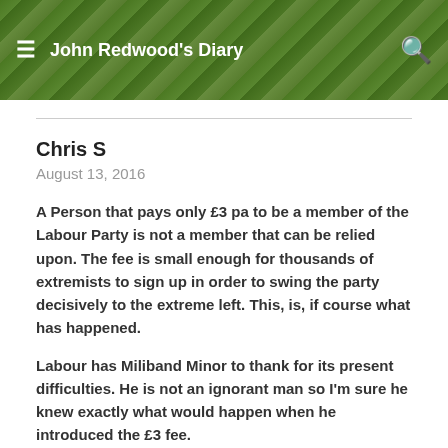John Redwood's Diary
Chris S
August 13, 2016
A Person that pays only £3 pa to be a member of the Labour Party is not a member that can be relied upon. The fee is small enough for thousands of extremists to sign up in order to swing the party decisively to the extreme left. This, is, if course what has happened.
Labour has Miliband Minor to thank for its present difficulties. He is not an ignorant man so I'm sure he knew exactly what would happen when he introduced the £3 fee.